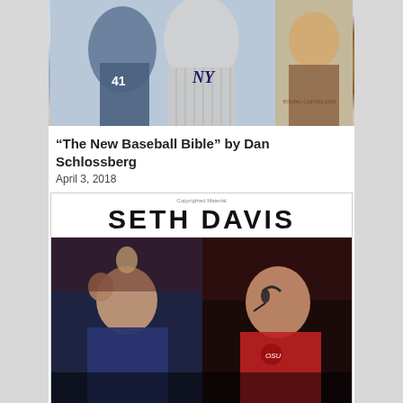[Figure (photo): Baseball-themed composite photo showing players in baseball uniforms including a New York Yankees pinstripe jersey and a Mets player wearing #41, along with a vintage baseball card illustration of a Cleveland player]
“The New Baseball Bible” by Dan Schlossberg
April 3, 2018
[Figure (photo): Book cover or promotional image for Seth Davis showing the name SETH DAVIS in large bold letters at the top with a copyright notice, and below that a split photo of two sports coaches: a basketball coach in a navy suit with fist raised on the left, and a football coach in a red jacket with headset on the right]